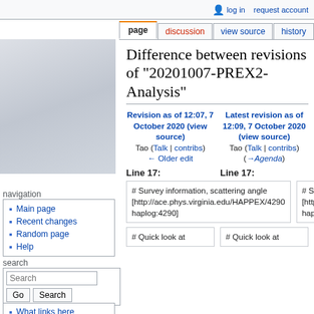log in   request account
Difference between revisions of "20201007-PREX2-Analysis"
Revision as of 12:07, 7 October 2020 (view source) Tao (Talk | contribs) ← Older edit | Latest revision as of 12:09, 7 October 2020 (view source) Tao (Talk | contribs) (→Agenda)
Line 17:  |  Line 17:
# Survey information, scattering angle [http://ace.phys.virginia.edu/HAPPEX/4290 haplog:4290]
# Survey information, scattering angle [http://ace.phys.virginia.edu/HAPPEX/4290 haplog:4290]
# Quick look at | # Quick look at
Main page
Recent changes
Random page
Help
What links here
Related changes
Special pages
Printable version
Permanent link